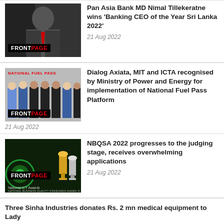[Figure (photo): Black and white photo of a man in suit with red tie, FRONTPAGE badge overlay]
Pan Asia Bank MD Nimal Tillekeratne wins 'Banking CEO of the Year Sri Lanka 2022'
21 Aug 2022
[Figure (photo): Group photo of people in formal attire, NATIONAL FUEL PASS FRONTPAGE badge overlay]
Dialog Axiata, MIT and ICTA recognised by Ministry of Power and Energy for implementation of National Fuel Pass Platform
21 Aug 2022
[Figure (photo): Dark green background with trophies, FRONTPAGE National ICT Awards badge overlay]
NBQSA 2022 progresses to the judging stage, receives overwhelming applications
21 Aug 2022
Three Sinha Industries donates Rs. 2 mn medical equipment to Lady...